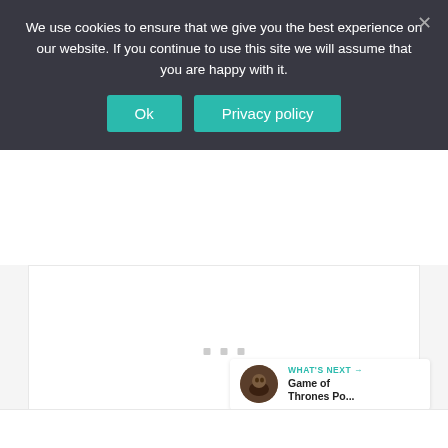We use cookies to ensure that we give you the best experience on our website. If you continue to use this site we will assume that you are happy with it.
[Figure (screenshot): Cookie consent banner with dark background, two teal buttons labeled 'Ok' and 'Privacy policy', and a close X button. Below is a webpage content area with loading dots, a teal heart button showing 451 likes, a share button, and a 'WHAT'S NEXT' card showing 'Game of Thrones Po...']